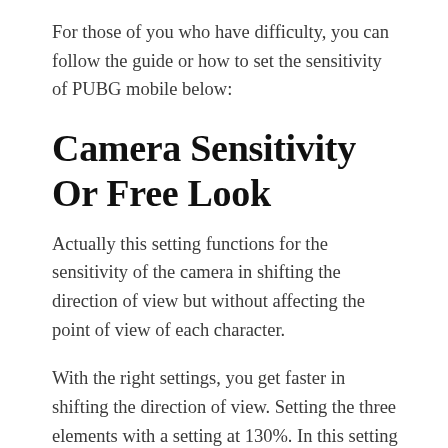For those of you who have difficulty, you can follow the guide or how to set the sensitivity of PUBG mobile below:
Camera Sensitivity Or Free Look
Actually this setting functions for the sensitivity of the camera in shifting the direction of view but without affecting the point of view of each character.
With the right settings, you get faster in shifting the direction of view. Setting the three elements with a setting at 130%. In this setting it is relatively faster, but does not